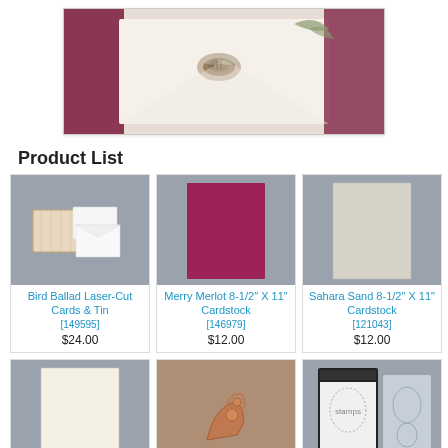[Figure (photo): Top photo showing a card with a bee stamp design, partially cropped, with decorative edges in merlot/burgundy color on a light background]
Product List
[Figure (photo): Bird Ballad Laser-Cut Cards & Tin product photo showing ornate laser-cut cards and mini envelopes on gray background]
Bird Ballad Laser-Cut Cards & Tin
[149595]
$24.00
[Figure (photo): Merry Merlot 8-1/2" X 11" Cardstock product photo showing a deep pink/magenta sheet on gray background]
Merry Merlot 8-1/2" X 11" Cardstock
[146979]
$12.00
[Figure (photo): Sahara Sand 8-1/2" X 11" Cardstock product photo showing a light sand/beige sheet on gray background]
Sahara Sand 8-1/2" X 11" Cardstock
[121043]
$12.00
[Figure (photo): Second row first product: cream/vanilla cardstock sheet on gray background]
[Figure (photo): Second row middle product: copper/rose gold decorative die-cut pieces on wooden background]
[Figure (photo): Second row right product: stamp set in packaging with multiple stamp images visible]